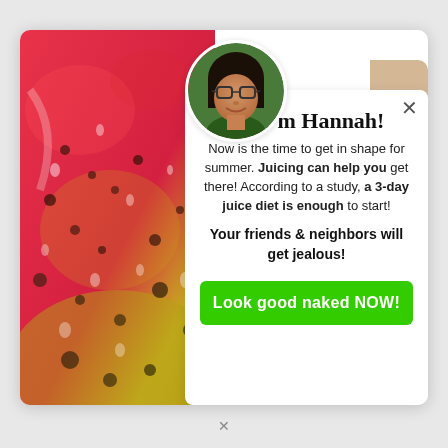[Figure (photo): Close-up photo of a sliced dragon fruit showing red and yellow flesh with seeds and moisture droplets]
[Figure (photo): Circular profile photo of a woman with glasses and dark hair, smiling]
Hi, I'm Hannah!
Now is the time to get in shape for summer. Juicing can help you get there! According to a study, a 3-day juice diet is enough to start!
Your friends & neighbors will get jealous!
Look good naked NOW!